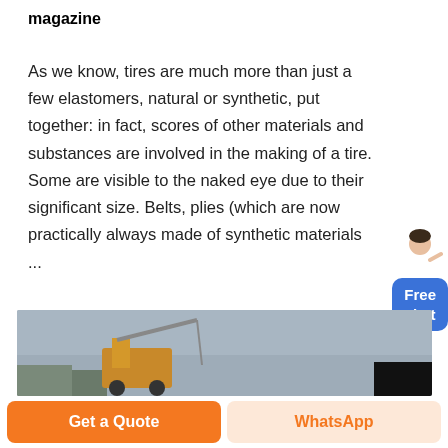magazine
As we know, tires are much more than just a few elastomers, natural or synthetic, put together: in fact, scores of other materials and substances are involved in the making of a tire. Some are visible to the naked eye due to their significant size. Belts, plies (which are now practically always made of synthetic materials ...
[Figure (photo): A photo showing construction or industrial machinery (crane/vehicle) against a grey sky, partially visible at the bottom of the page. A black rectangle overlay is visible in the bottom-right corner of the photo.]
Get a Quote
WhatsApp